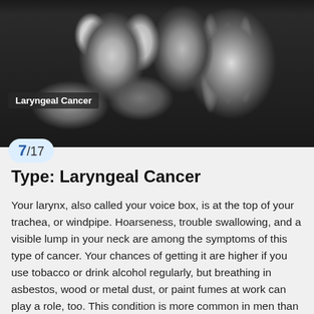[Figure (photo): Grayscale CT scan image of a laryngeal cancer showing sagittal view of the neck and spine. A label reads 'Laryngeal Cancer' with an arrow pointing to the affected area.]
Laryngeal Cancer
7/17
Type: Laryngeal Cancer
Your larynx, also called your voice box, is at the top of your trachea, or windpipe. Hoarseness, trouble swallowing, and a visible lump in your neck are among the symptoms of this type of cancer. Your chances of getting it are higher if you use tobacco or drink alcohol regularly, but breathing in asbestos, wood or metal dust, or paint fumes at work can play a role, too. This condition is more common in men than in women.